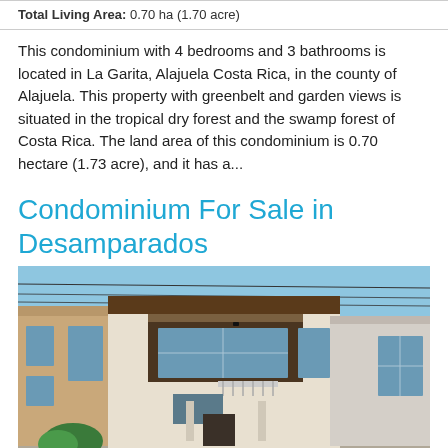Total Living Area: 0.70 ha (1.70 acre)
This condominium with 4 bedrooms and 3 bathrooms is located in La Garita, Alajuela Costa Rica, in the county of Alajuela. This property with greenbelt and garden views is situated in the tropical dry forest and the swamp forest of Costa Rica. The land area of this condominium is 0.70 hectare (1.73 acre), and it has a...
Condominium For Sale in Desamparados
[Figure (photo): Exterior photo of a modern two-story condominium building with brown and white facade, large windows, small balcony, and blue sky background. Adjacent buildings visible on left and right.]